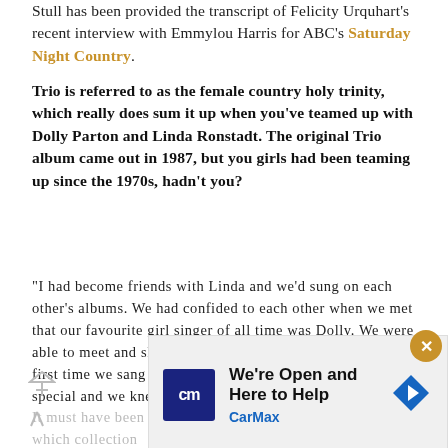Stull has been provided the transcript of Felicity Urquhart's recent interview with Emmylou Harris for ABC's Saturday Night Country.
Trio is referred to as the female country holy trinity, which really does sum it up when you've teamed up with Dolly Parton and Linda Ronstadt. The original Trio album came out in 1987, but you girls had been teaming up since the 1970s, hadn't you?
“I had become friends with Linda and we’d sung on each other’s albums. We had confided to each other when we met that our favourite girl singer of all time was Dolly. We were able to meet and she sang on some of my records, but the first time we sang together we knew there was something special and we knew we should do a record